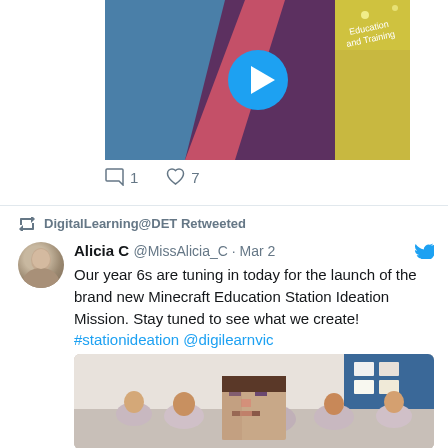[Figure (screenshot): Video thumbnail showing an exhibition booth with colorful geometric shapes and a play button overlay. Text 'Education and Training' visible on the display.]
1  7
DigitalLearning@DET Retweeted
Alicia C @MissAlicia_C · Mar 2
Our year 6s are tuning in today for the launch of the brand new Minecraft Education Station Ideation Mission. Stay tuned to see what we create! #stationideation @digilearnvic
[Figure (photo): Classroom photo with students and a Minecraft character head/mask in the foreground, children seated in background.]